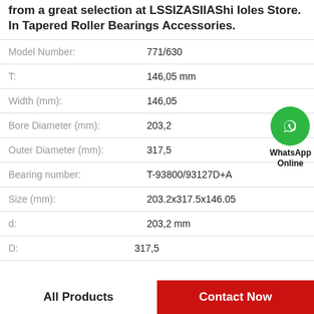from a great selection at LSSIZASIIAShi Ioles Store. In Tapered Roller Bearings Accessories.
| Property | Value |
| --- | --- |
| Model Number: | 771/630 |
| T: | 146,05 mm |
| Width (mm): | 146,05 |
| Bore Diameter (mm): | 203,2 |
| Outer Diameter (mm): | 317,5 |
| Bearing number: | T-93800/93127D+A |
| Size (mm): | 203.2x317.5x146.05 |
| d: | 203,2 mm |
| D: | 317,5 |
[Figure (logo): WhatsApp Online green circle button with phone icon and WhatsApp Online text]
All Products   Contact Now